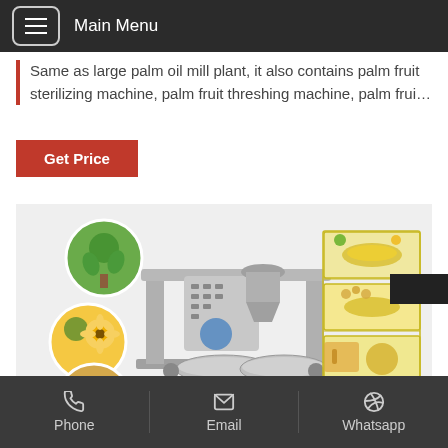Main Menu
Same as large palm oil mill plant, it also contains palm fruit sterilizing machine, palm fruit threshing machine, palm frui…
Get Price
[Figure (photo): Oil press machine surrounded by circular images of sunflowers, soybeans, rapeseed, and a plant, with small rectangular images of various oils on the right side]
Phone  Email  Whatsapp